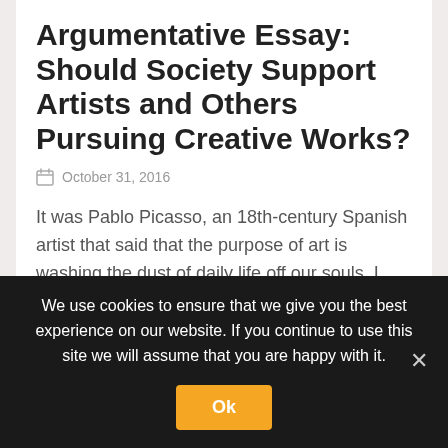Argumentative Essay: Should Society Support Artists and Others Pursuing Creative Works?
October 31, 2016
It was Pablo Picasso, an 18th-century Spanish artist that said that the purpose of art is washing the dust of daily life off our souls. I find no better definition. The arts have been part of life as long as man has existed. Even before formulas and pythagorases and laws of gravity. Read more
We use cookies to ensure that we give you the best experience on our website. If you continue to use this site we will assume that you are happy with it.